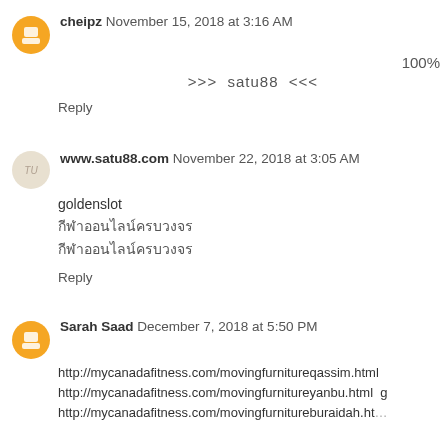cheipz November 15, 2018 at 3:16 AM
100%
>>> satu88 <<<
Reply
www.satu88.com November 22, 2018 at 3:05 AM
goldenslot
[Thai text line 1]
[Thai text line 2]
Reply
Sarah Saad December 7, 2018 at 5:50 PM
http://mycanadafitness.com/movingfurnitureqassim.html
http://mycanadafitness.com/movingfurnitureyanbu.html
http://mycanadafitness.com/movingfurnitureburaidah.html